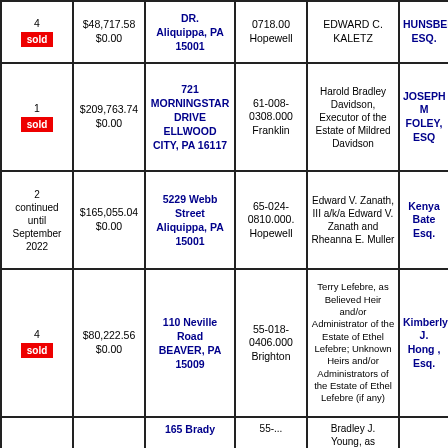| # | Amount | Property Address | Parcel/Muni | Defendant | Attorney |
| --- | --- | --- | --- | --- | --- |
| 4
sold | $48,717.58
$0.00 | DR.
Aliquippa, PA
15001 | 0718.00
Hopewell | EDWARD C. KALETZ | HUNSBERGI
ESQ. |
| 1
sold | $209,763.74
$0.00 | 721 MORNINGSTAR DRIVE
ELLWOOD CITY, PA 16117 | 61-008-0308.000
Franklin | Harold Bradley Davidson, Executor of the Estate of Mildred Davidson | JOSEPH M
FOLEY, ESQ |
| 2 continued until September 2022 | $165,055.04
$0.00 | 5229 Webb Street
Aliquippa, PA
15001 | 65-024-0810.000.
Hopewell | Edward V. Zanath, III a/k/a Edward V. Zanath and Rheanna E. Muller | Kenya Bate
Esq. |
| 4
sold | $80,222.56
$0.00 | 110 Neville Road
BEAVER, PA
15009 | 55-018-0406.000
Brighton | Terry Lefebre, as Believed Heir and/or Administrator of the Estate of Ethel Lefebre; Unknown Heirs and/or Administrators of the Estate of Ethel Lefebre (if any) | Kimberly J.
Hong, Esq. |
|  |  | 165 Brady | 55-... | Bradley J. Young, as |  |